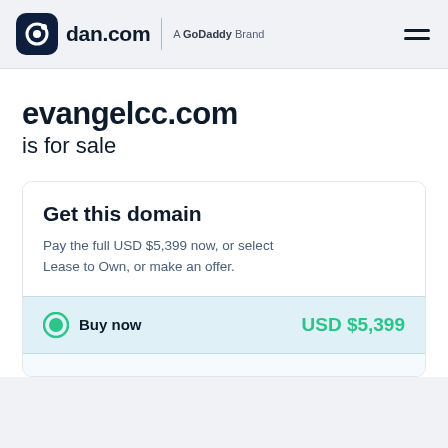dan.com | A GoDaddy Brand
evangelcc.com is for sale
Get this domain
Pay the full USD $5,399 now, or select Lease to Own, or make an offer.
Buy now   USD $5,399